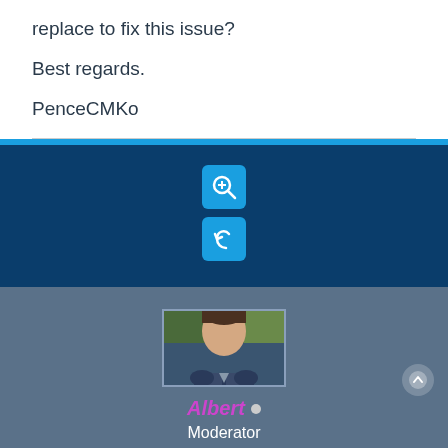replace to fix this issue?
Best regards.
PenceCMKo
[Figure (screenshot): Dark blue toolbar with zoom-in icon button and reply/undo icon button centered]
[Figure (screenshot): User profile card with avatar photo of Albert (Moderator) with 5 orange stars on grey-blue background]